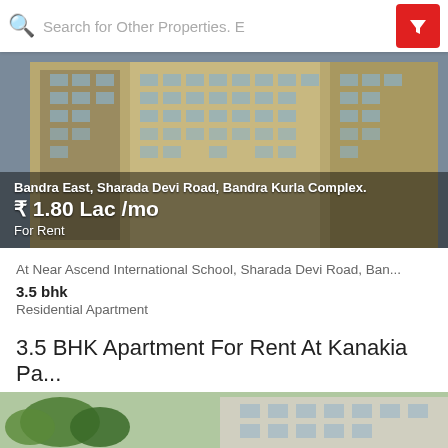Search for Other Properties.
[Figure (photo): Tall residential apartment building viewed from below at an angle, yellowish facade with many windows and balconies.]
Bandra East, Sharada Devi Road, Bandra Kurla Complex.
₹ 1.80 Lac /mo
For Rent
At Near Ascend International School, Sharada Devi Road, Ban...
3.5 bhk
Residential Apartment
3.5 BHK Apartment For Rent At Kanakia Pa...
Semi furnished apartment. Higher floor.
[Figure (photo): Partial view of a residential building exterior with trees in foreground.]